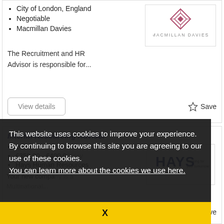City of London, England
Negotiable
Macmillan Davies
[Figure (logo): Macmillan Davies logo with diamond-shaped geometric icon in dark red/mauve and company name below]
The Recruitment and HR Advisor is responsible for...
View details
☆ Save
Interim Resourcing Advisor
London
£350.00 - £400.00/day
Hays Human Resources
[Figure (logo): Hays logo in bold dark blue with tagline 'Working for your tomorrow']
Your new company is a Multinational...
View details
☆ Save
This website uses cookies to improve your experience. By continuing to browse this site you are agreeing to our use of these cookies. You can learn more about the cookies we use here.